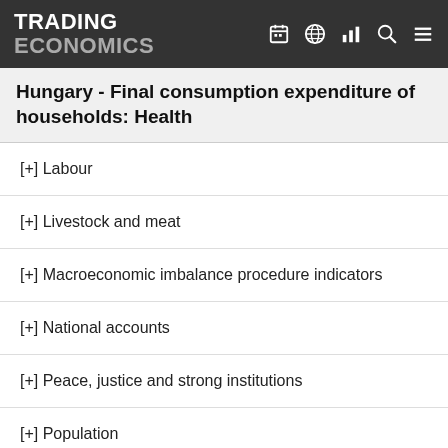TRADING ECONOMICS
Hungary - Final consumption expenditure of households: Health
[+] Labour
[+] Livestock and meat
[+] Macroeconomic imbalance procedure indicators
[+] National accounts
[+] Peace, justice and strong institutions
[+] Population
[+] Poverty
[+] Prices